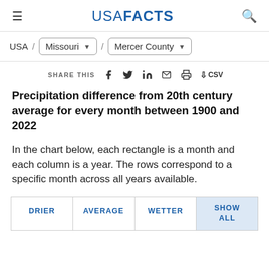USA FACTS
USA / Missouri / Mercer County
SHARE THIS
Precipitation difference from 20th century average for every month between 1900 and 2022
In the chart below, each rectangle is a month and each column is a year. The rows correspond to a specific month across all years available.
DRIER | AVERAGE | WETTER | SHOW ALL